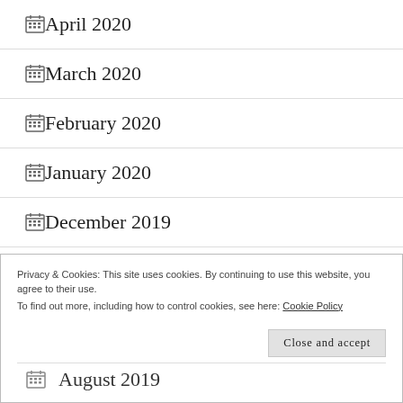April 2020
March 2020
February 2020
January 2020
December 2019
November 2019
Privacy & Cookies: This site uses cookies. By continuing to use this website, you agree to their use.
To find out more, including how to control cookies, see here: Cookie Policy
August 2019